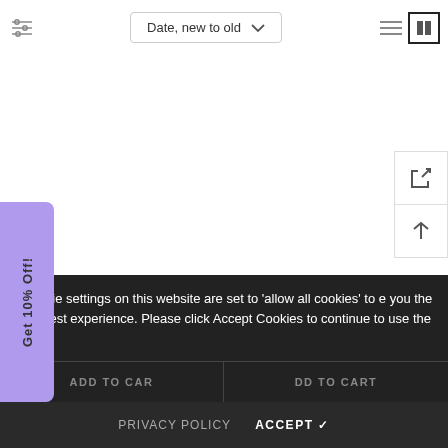[Figure (screenshot): E-commerce product listing page header with filter icon, 'Date, new to old' sort dropdown, and list/grid view toggle icons]
ODE Oversized Shearling..
SWODE Oversized Shearling..
e cookie settings on this website are set to 'allow all cookies' to e you the very best experience. Please click Accept Cookies to continue to use the site.
ADD TO CAR
DD TO CART
PRIVACY POLICY
ACCEPT ✓
Get 10% Off!